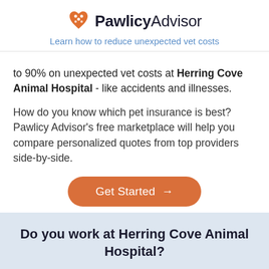[Figure (logo): PawlicyAdvisor logo with orange heart-paw icon and text]
Learn how to reduce unexpected vet costs
to 90% on unexpected vet costs at Herring Cove Animal Hospital - like accidents and illnesses.
How do you know which pet insurance is best? Pawlicy Advisor's free marketplace will help you compare personalized quotes from top providers side-by-side.
[Figure (other): Get Started button with arrow]
Do you work at Herring Cove Animal Hospital?
[Figure (other): Update Profile button]